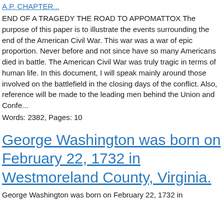A.P. CHAPTER...
END OF A TRAGEDY THE ROAD TO APPOMATTOX The purpose of this paper is to illustrate the events surrounding the end of the American Civil War. This war was a war of epic proportion. Never before and not since have so many Americans died in battle. The American Civil War was truly tragic in terms of human life. In this document, I will speak mainly around those involved on the battlefield in the closing days of the conflict. Also, reference will be made to the leading men behind the Union and Confe...
Words: 2382, Pages: 10
George Washington was born on February 22, 1732 in Westmoreland County, Virginia.
George Washington was born on February 22, 1732 in